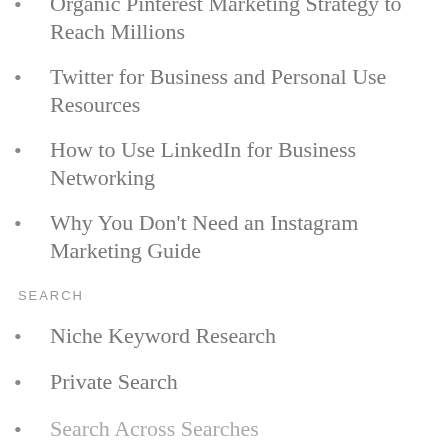Organic Pinterest Marketing Strategy to Reach Millions
Twitter for Business and Personal Use Resources
How to Use LinkedIn for Business Networking
Why You Don’t Need an Instagram Marketing Guide
SEARCH
Niche Keyword Research
Private Search
Search Across Searches